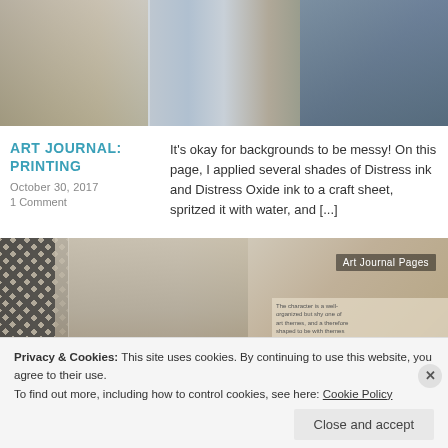[Figure (photo): Top collage/art journal image showing vintage photographs of women in old-fashioned clothing, with mixed-media art journal backgrounds in muted blues, tans, and grays]
ART JOURNAL: PRINTING
October 30, 2017
1 Comment
It's okay for backgrounds to be messy!  On this page, I applied several shades of Distress ink and Distress Oxide ink to a craft sheet, spritzed it with water, and [...]
[Figure (photo): Art journal pages collage image showing vintage photographs of a couple (man and woman), houndstooth pattern, yellow tape/band, text snippets, stamps, and a dark flower embellishment. Label reads 'Art Journal Pages']
Privacy & Cookies: This site uses cookies. By continuing to use this website, you agree to their use.
To find out more, including how to control cookies, see here: Cookie Policy
Close and accept